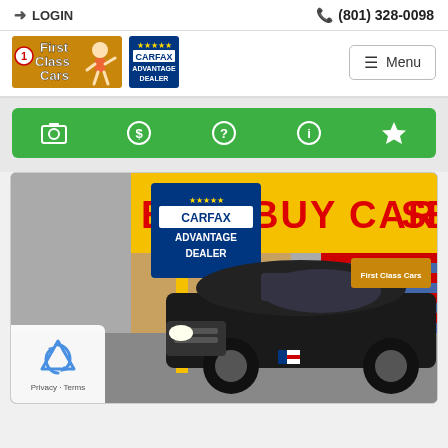LOGIN    (801) 328-0098
[Figure (logo): First Class Cars logo with clown mascot and Carfax Advantage Dealer badge]
[Figure (screenshot): Green navigation icon bar with camera, chat, question mark, info, and star icons]
[Figure (photo): Black Ford Escape SUV parked in front of a car dealership showing Carfax Advantage Dealer sign and WE BUY CARS banner. American flag visible in background.]
[Figure (other): reCAPTCHA widget showing recycle-style logo and Privacy - Terms text]